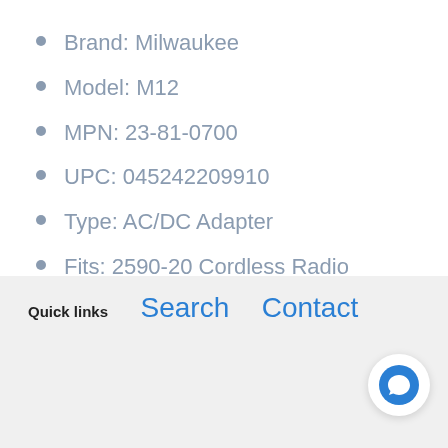Brand: Milwaukee
Model: M12
MPN: 23-81-0700
UPC: 045242209910
Type: AC/DC Adapter
Fits: 2590-20 Cordless Radio
Quick links
Search
Contact